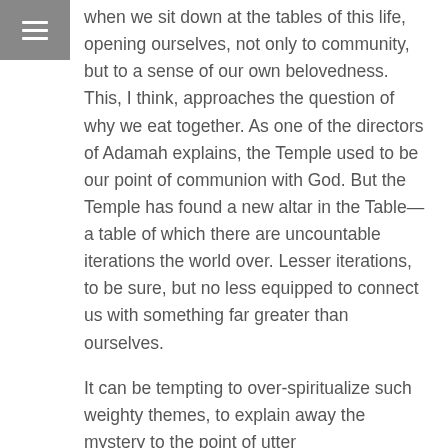≡
when we sit down at the tables of this life, opening ourselves, not only to community, but to a sense of our own belovedness. This, I think, approaches the question of why we eat together. As one of the directors of Adamah explains, the Temple used to be our point of communion with God. But the Temple has found a new altar in the Table—a table of which there are uncountable iterations the world over. Lesser iterations, to be sure, but no less equipped to connect us with something far greater than ourselves.
It can be tempting to over-spiritualize such weighty themes, to explain away the mystery to the point of utter unrecognizability. But this is a temptation which this film has evaded entirely. Without imposing meaning or engineering moments to suit an agenda, you get the sense that Brumme has simply shown up to something remarkably active and present in our world, available to